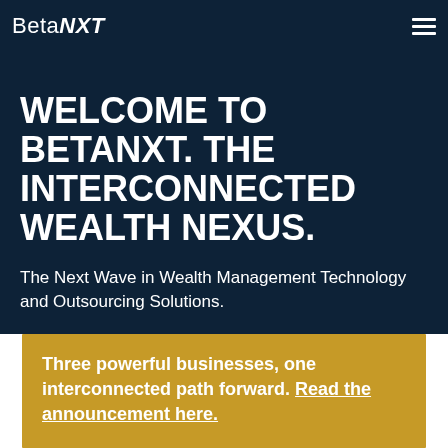BetaNXT
WELCOME TO BETANXT. THE INTERCONNECTED WEALTH NEXUS.
The Next Wave in Wealth Management Technology and Outsourcing Solutions.
More flexible. More efficient. More connected.
Three powerful businesses, one interconnected path forward. Read the announcement here.